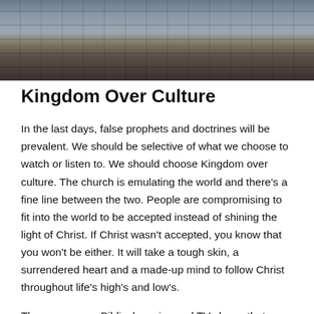[Figure (photo): Top portion of a photo showing a person on stone steps, wearing jeans, holding what appears to be a book or Bible, with a stone wall in the background.]
Kingdom Over Culture
In the last days, false prophets and doctrines will be prevalent. We should be selective of what we choose to watch or listen to. We should choose Kingdom over culture. The church is emulating the world and there’s a fine line between the two. People are compromising to fit into the world to be accepted instead of shining the light of Christ. If Christ wasn't accepted, you know that you won’t be either. It will take a tough skin, a surrendered heart and a made-up mind to follow Christ throughout life’s high’s and low’s.
There are some Biblical movies and TV shows that are